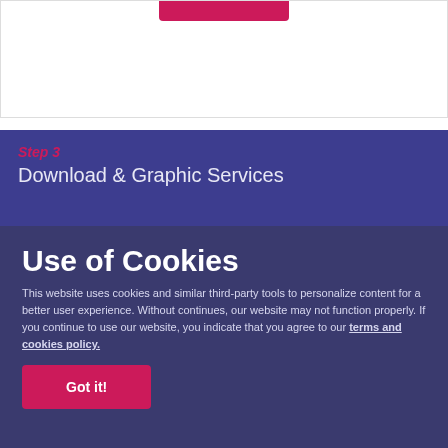[Figure (screenshot): Top white card section with a pink/crimson button at the top center]
Step 3
Download & Graphic Services
Use of Cookies
This website uses cookies and similar third-party tools to personalize content for a better user experience. Without continues, our website may not function properly. If you continue to use our website, you indicate that you agree to our terms and cookies policy.
Got it!